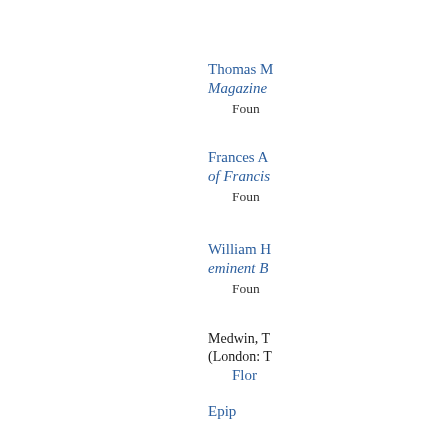Thomas M... Magazine...
Found...
Frances A... of Francis...
Found...
William H... eminent B...
Found...
Medwin, T... (London: T...
Flor...
Epip...
Poe...
Bur...